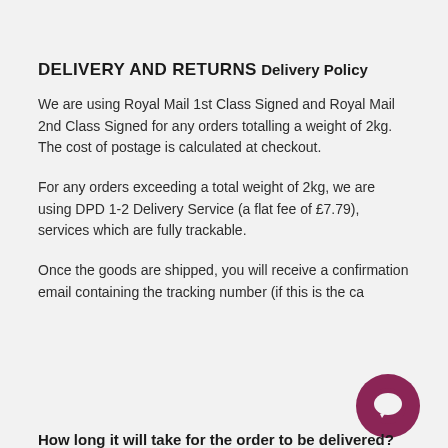DELIVERY AND RETURNS
Delivery Policy
We are using Royal Mail 1st Class Signed and Royal Mail 2nd Class Signed for any orders totalling a weight of 2kg. The cost of postage is calculated at checkout.
For any orders exceeding a total weight of 2kg, we are using DPD 1-2 Delivery Service (a flat fee of £7.79), services which are fully trackable.
Once the goods are shipped, you will receive a confirmation email containing the tracking number (if this is the ca…
[Figure (illustration): Dark purple/maroon circular chat bubble icon in the bottom-right corner]
How long it will take for the order to be delivered?